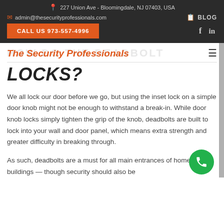227 Union Ave - Bloomingdale, NJ 07403, USA
admin@thesecurityprofessionals.com | BLOG
CALL US 973-557-4996
The Security Professionals
HOW DO THE DEADBOLT LOCKS?
We all lock our door before we go, but using the inset lock on a simple door knob might not be enough to withstand a break-in. While door knob locks simply tighten the grip of the knob, deadbolts are built to lock into your wall and door panel, which means extra strength and greater difficulty in breaking through.
As such, deadbolts are a must for all main entrances of homes and buildings — though security should also be